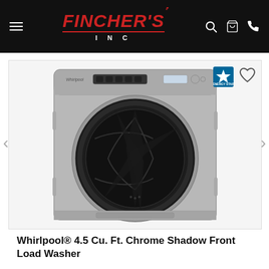FINCHER'S INC — navigation header with hamburger menu, logo, search, cart, phone icons
[Figure (photo): Whirlpool front-load washer in Chrome Shadow finish, shown against white/light grey background. Front-load design with large circular dark door, digital control panel at top, Whirlpool branding. Energy Star badge and heart/wishlist icon visible in upper right of product card.]
Whirlpool® 4.5 Cu. Ft. Chrome Shadow Front Load Washer